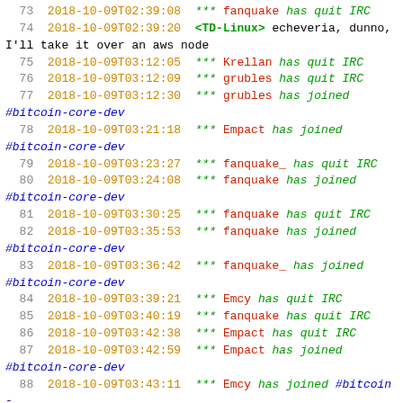IRC chat log lines 73-91, showing join/quit events for #bitcoin-core-dev channel dated 2018-10-09